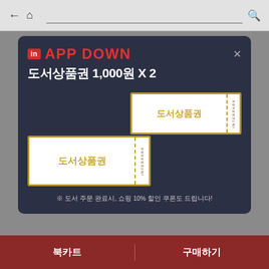← 🏠  [search bar]  🔍
[Figure (screenshot): App promotion popup card on dark navy background showing 'in APP DOWN 도서상품권 1,000원 X 2' with two overlapping book voucher tickets labeled 도서상품권 with INTERPARK stub, and a note about 10% shopping coupon]
※ 도서 주문 완료시, 쇼핑 10% 할인 쿠폰도 드립니다!
북카트  구매하기